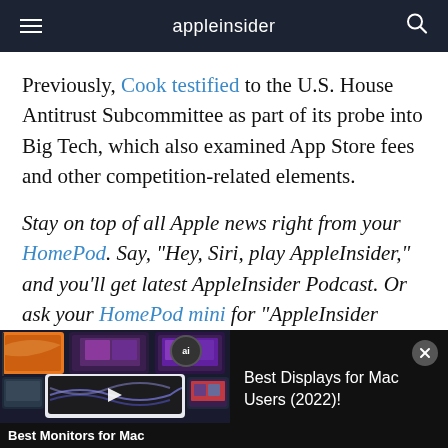appleinsider
Previously, Cook testified to the U.S. House Antitrust Subcommittee as part of its probe into Big Tech, which also examined App Store fees and other competition-related elements.
Stay on top of all Apple news right from your HomePod. Say, "Hey, Siri, play AppleInsider," and you'll get latest AppleInsider Podcast. Or ask your HomePod mini for "AppleInsider Daily" instead and you'll hear a fast update direct
[Figure (screenshot): Advertisement banner for 'Best Displays for Mac Users (2022)!' showing monitor collage image on the left with 'Best Monitors for Mac' caption, and ad title text on the right with a close button.]